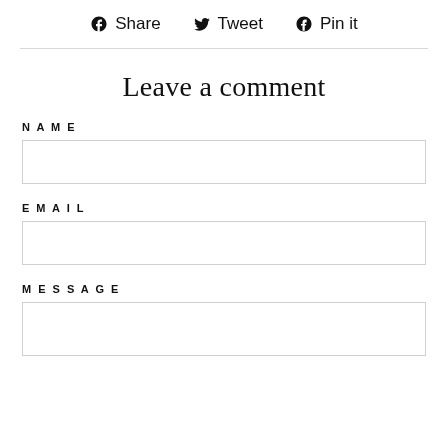f Share   Tweet   Pin it
Leave a comment
NAME
EMAIL
MESSAGE